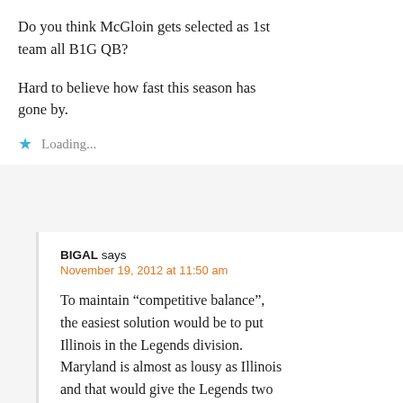Do you think McGloin gets selected as 1st team all B1G QB?
Hard to believe how fast this season has gone by.
★ Loading...
BIGAL says
November 19, 2012 at 11:50 am
To maintain “competitive balance”, the easiest solution would be to put Illinois in the Legends division. Maryland is almost as lousy as Illinois and that would give the Legends two